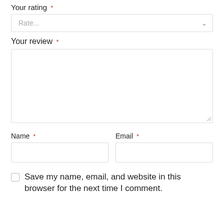Your rating *
Rate...
Your review *
Name *
Email *
Save my name, email, and website in this browser for the next time I comment.